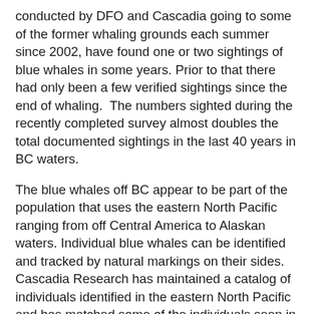conducted by DFO and Cascadia going to some of the former whaling grounds each summer since 2002, have found one or two sightings of blue whales in some years. Prior to that there had only been a few verified sightings since the end of whaling.  The numbers sighted during the recently completed survey almost doubles the total documented sightings in the last 40 years in BC waters.
The blue whales off BC appear to be part of the population that uses the eastern North Pacific ranging from off Central America to Alaskan waters. Individual blue whales can be identified and tracked by natural markings on their sides. Cascadia Research has maintained a catalog of individuals identified in the eastern North Pacific and has matched some of the individuals seen in BC with those seen feeding off California. “It appears likely that the distribution of the prey of blue whales must be favorable off BC, bringing more of these giant mammals back to BC waters” said John Calambokidis, a Research Biologist with Cascadia Research who has been studying blue whales in the North Pacific since 1986 and documenting